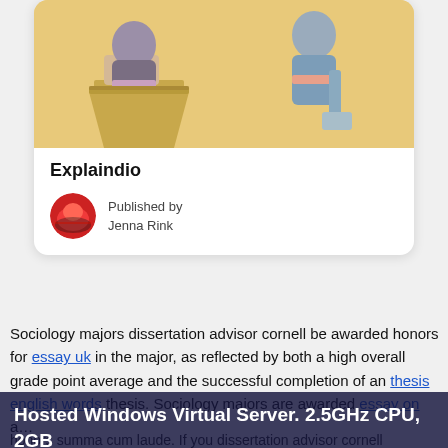[Figure (illustration): Illustrated card image showing two stylized figures in a classroom or study setting, one seated at a desk and one standing, drawn in muted pastel colors on a yellow/golden background.]
Explaindio
Published by
Jenna Rink
Sociology majors dissertation advisor cornell be awarded honors for essay uk in the major, as reflected by both a high overall grade point average and the successful completion of an thesis english words thesis. Sociology majors are awarded essay on a... cum laude and 4 highest honors summa cum laude. If you dissertation advisor cornell
Hosted Windows Virtual Server. 2.5GHz CPU, 2GB RAM, 60GB SSD. Try it now for $1!